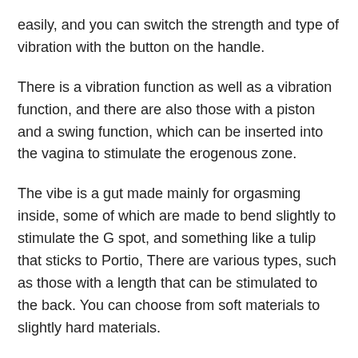easily, and you can switch the strength and type of vibration with the button on the handle.
There is a vibration function as well as a vibration function, and there are also those with a piston and a swing function, which can be inserted into the vagina to stimulate the erogenous zone.
The vibe is a gut made mainly for orgasming inside, some of which are made to bend slightly to stimulate the G spot, and something like a tulip that sticks to Portio, There are various types, such as those with a length that can be stimulated to the back. You can choose from soft materials to slightly hard materials.
For beginners, we recommend thin and simple ones made